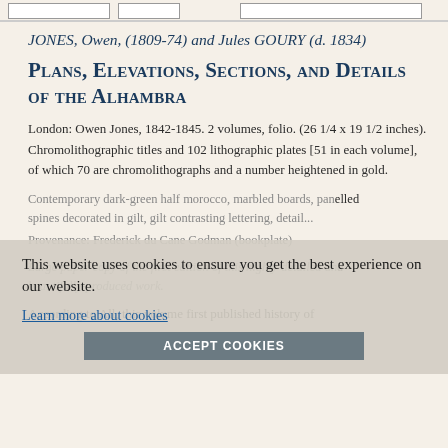[Figure (other): Top decorative border with image placeholders]
JONES, Owen, (1809-74) and Jules GOURY (d. 1834)
Plans, Elevations, Sections, and Details of the Alhambra
London: Owen Jones, 1842-1845. 2 volumes, folio. (26 1/4 x 19 1/2 inches). Chromolithographic titles and 102 lithographic plates [51 in each volume], of which 70 are chromolithographs and a number heightened in gold.
Contemporary dark-green half morocco, marbled boards, panelled spines decorated in gilt, gilt contrasting lettering, details...
Provenance: Frederick du Cane Godman (bookplate)
Large paper copy of the first edition of this highly-detailed and beautifully-produced work.
According to All, this volume first published history of...